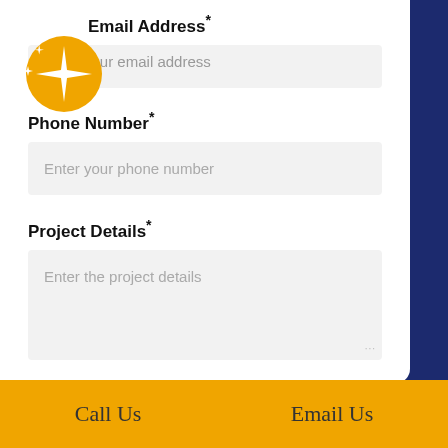[Figure (illustration): Orange circle with sparkle/star graphic in top-left corner overlapping the Email Address label]
Email Address*
Enter your email address
Phone Number*
Enter your phone number
Project Details*
Enter the project details
SUBMIT
Call Us
Email Us